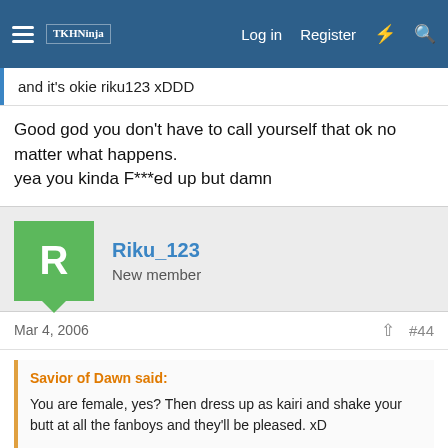TKHNinja forum navigation bar with Log in, Register links
and it's okie riku123 xDDD
Good god you don't have to call yourself that ok no matter what happens.
yea you kinda F***ed up but damn
Riku_123
New member
Mar 4, 2006   #44
Savior of Dawn said:
You are female, yes? Then dress up as kairi and shake your butt at all the fanboys and they'll be pleased. xD

As for now, just say sorry to the mods, so they can close this topic before anybody else comes down and burns your wee little panties until you have to say "I'm sorry" all over again.